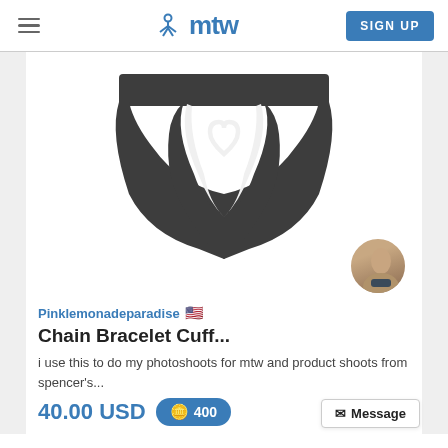mtw | SIGN UP
[Figure (illustration): Dark gray/charcoal thong underwear icon with a heart cutout in the center front panel, shown flat on white background.]
[Figure (photo): Circular avatar photo of a male torso wearing dark underwear.]
Pinklemonadeparadise 🇺🇸
Chain Bracelet Cuff...
i use this to do my photoshoots for mtw and product shoots from spencer's...
40.00 USD
400
Message